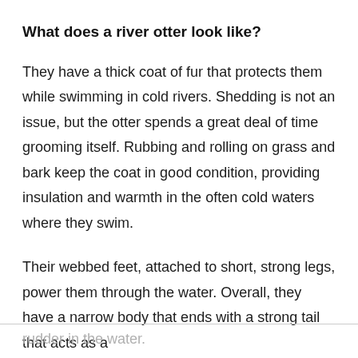What does a river otter look like?
They have a thick coat of fur that protects them while swimming in cold rivers. Shedding is not an issue, but the otter spends a great deal of time grooming itself. Rubbing and rolling on grass and bark keep the coat in good condition, providing insulation and warmth in the often cold waters where they swim.
Their webbed feet, attached to short, strong legs, power them through the water. Overall, they have a narrow body that ends with a strong tail that acts as a rudder in the water.